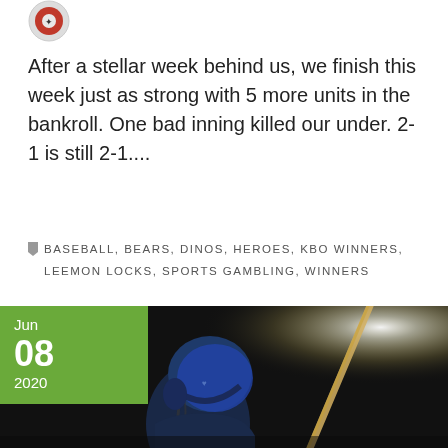[Figure (photo): Small circular avatar/logo icon at the top left, appearing to be a sports-related logo]
After a stellar week behind us, we finish this week just as strong with 5 more units in the bankroll. One bad inning killed our under. 2-1 is still 2-1....
BASEBALL, BEARS, DINOS, HEROES, KBO WINNERS, LEEMON LOCKS, SPORTS GAMBLING, WINNERS
[Figure (photo): A baseball player wearing a blue helmet at bat, with a bright stadium light in the background. Dark nighttime atmosphere. Date badge overlay: Jun 08 2020 in green.]